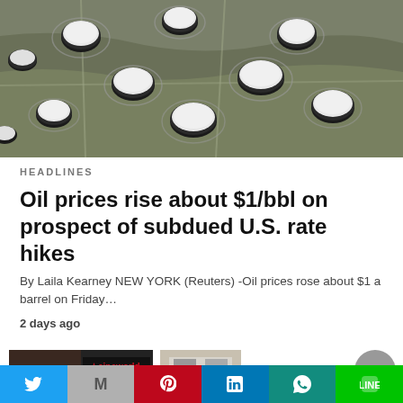[Figure (photo): Aerial photograph of oil storage tanks in a dry landscape, viewed from above, showing circular tanks with white domed tops and dirt access roads between them.]
HEADLINES
Oil prices rise about $1/bbl on prospect of subdued U.S. rate hikes
By Laila Kearney NEW YORK (Reuters) -Oil prices rose about $1 a barrel on Friday…
2 days ago
[Figure (photo): Small thumbnail image showing a Cineworld cinema sign and another building thumbnail next to it, with a scroll-to-top button on the right.]
Twitter | Gmail | Pinterest | LinkedIn | WhatsApp | LINE